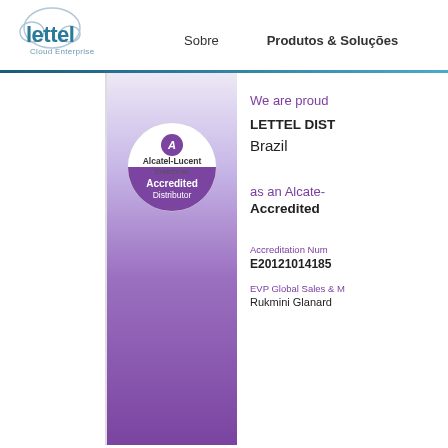[Figure (logo): Lettel Cloud Enterprise logo with cloud graphic, teal color]
Sobre    Produtos & Soluções
[Figure (illustration): Alcatel-Lucent Enterprise Accredited Distributor badge on purple gradient certificate panel]
We are proud
LETTEL DIST
Brazil
as an Alcate- Accredited
Accreditation Num E20121014185
EVP Global Sales & M Rukmini Glanard